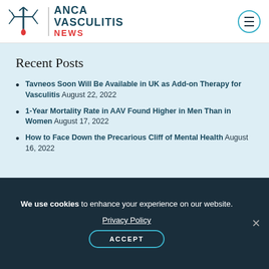ANCA VASCULITIS NEWS
Recent Posts
Tavneos Soon Will Be Available in UK as Add-on Therapy for Vasculitis August 22, 2022
1-Year Mortality Rate in AAV Found Higher in Men Than in Women August 17, 2022
How to Face Down the Precarious Cliff of Mental Health August 16, 2022
We use cookies to enhance your experience on our website. Privacy Policy ACCEPT